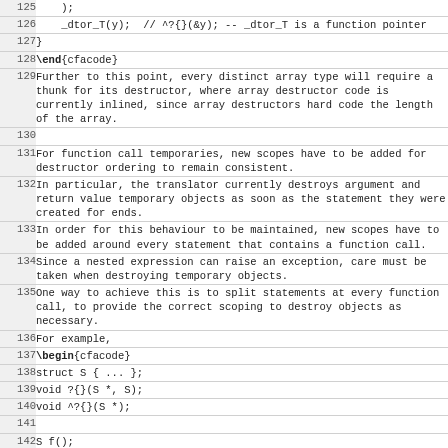| line | content |
| --- | --- |
| 125 |     ); |
| 126 |     _dtor_T(y);  // ^?{}(&y); -- _dtor_T is a function pointer |
| 127 | } |
| 128 | \end{cfacode} |
| 129 | Further to this point, every distinct array type will require a thunk for its destructor, where array destructor code is currently inlined, since array destructors hard code the length of the array. |
| 130 |  |
| 131 | For function call temporaries, new scopes have to be added for destructor ordering to remain consistent. |
| 132 | In particular, the translator currently destroys argument and return value temporary objects as soon as the statement they were created for ends. |
| 133 | In order for this behaviour to be maintained, new scopes have to be added around every statement that contains a function call. |
| 134 | Since a nested expression can raise an exception, care must be taken when destroying temporary objects. |
| 135 | One way to achieve this is to split statements at every function call, to provide the correct scoping to destroy objects as necessary. |
| 136 | For example, |
| 137 | \begin{cfacode} |
| 138 | struct S { ... }; |
| 139 | void ?{}(S *, S); |
| 140 | void ^?{}(S *); |
| 141 |  |
| 142 | S f(); |
| 143 | S g(S); |
| 144 |  |
| 145 | g(f()); |
| 146 | \end{cfacode} |